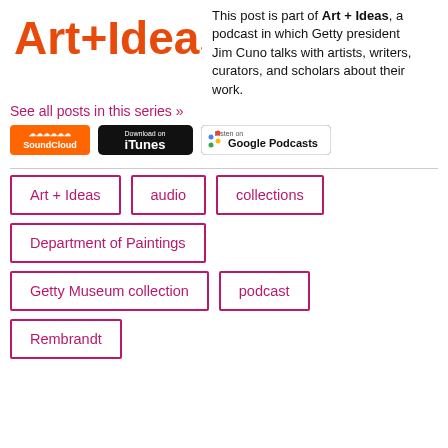[Figure (logo): Art+Ideas logo in orange text]
This post is part of Art + Ideas, a podcast in which Getty president Jim Cuno talks with artists, writers, curators, and scholars about their work.
See all posts in this series »
[Figure (logo): SoundCloud badge]
[Figure (logo): Download on iTunes badge]
[Figure (logo): Listen on Google Podcasts badge]
Art + Ideas
audio
collections
Department of Paintings
Getty Museum collection
podcast
Rembrandt